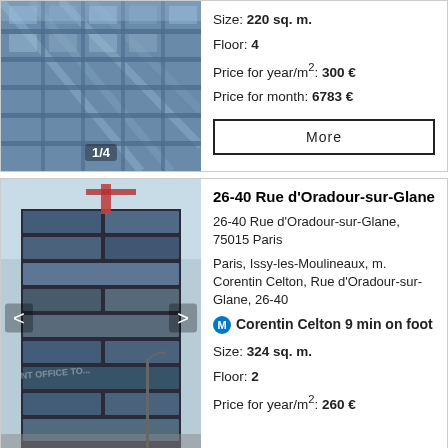[Figure (photo): Photo of a glass-facade modern office building, showing 1/4 of 4 images]
Size: 220 sq. m.
Floor: 4
Price for year/m²: 300 €
Price for month: 6783 €
More
[Figure (photo): Photo of 26-40 Rue d'Oradour-sur-Glane office building exterior, street view with navigation arrows]
26-40 Rue d'Oradour-sur-Glane
26-40 Rue d'Oradour-sur-Glane, 75015 Paris
Paris, Issy-les-Moulineaux, m. Corentin Celton, Rue d'Oradour-sur-Glane, 26-40
M Corentin Celton 9 min on foot
Size: 324 sq. m.
Floor: 2
Price for year/m²: 260 €